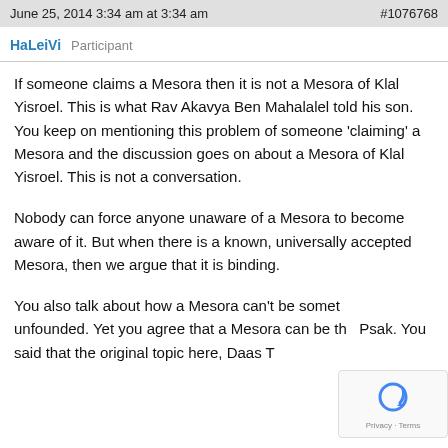June 25, 2014 3:34 am at 3:34 am   #1076768
HaLeiVi   Participant
If someone claims a Mesora then it is not a Mesora of Klal Yisroel. This is what Rav Akavya Ben Mahalalel told his son. You keep on mentioning this problem of someone 'claiming' a Mesora and the discussion goes on about a Mesora of Klal Yisroel. This is not a conversation.
Nobody can force anyone unaware of a Mesora to become aware of it. But when there is a known, universally accepted Mesora, then we argue that it is binding.
You also talk about how a Mesora can't be something unfounded. Yet you agree that a Mesora can be the Psak. You said that the original topic here, Daas Torah